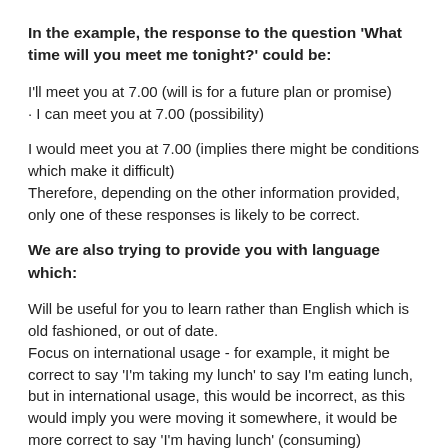In the example, the response to the question 'What time will you meet me tonight?' could be:
I'll meet you at 7.00 (will is for a future plan or promise)
· I can meet you at 7.00 (possibility)
I would meet you at 7.00 (implies there might be conditions which make it difficult)
Therefore, depending on the other information provided, only one of these responses is likely to be correct.
We are also trying to provide you with language which:
Will be useful for you to learn rather than English which is old fashioned, or out of date.
Focus on international usage - for example, it might be correct to say 'I'm taking my lunch' to say I'm eating lunch, but in international usage, this would be incorrect, as this would imply you were moving it somewhere, it would be more correct to say 'I'm having lunch' (consuming)
However, it would be incorrect to say 'I'm having a headache', as this is a state of being, and we do not use the continuous (...ing) form